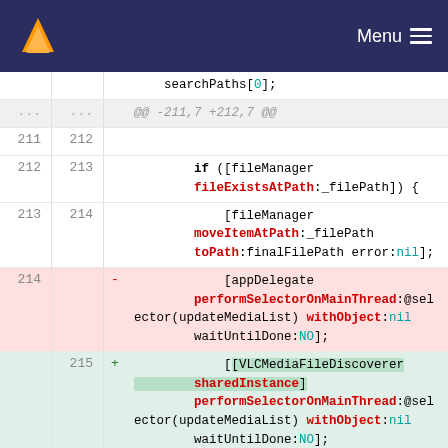VLC Menu
[Figure (screenshot): Code diff view showing Objective-C source changes in VLC media player. Lines 211-216 showing a git diff where appDelegate performSelectorOnMainThread call is replaced with VLCMediaFileDiscoverer sharedInstance performSelectorOnMainThread call.]